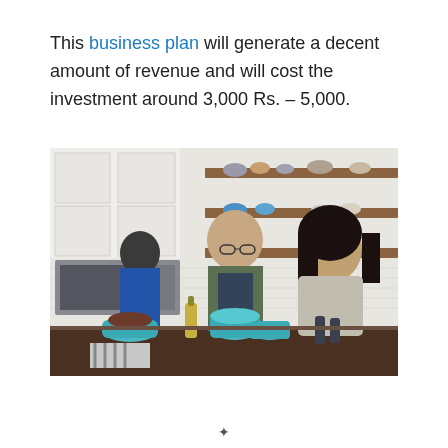This business plan will generate a decent amount of revenue and will cost the investment around 3,000 Rs. – 5,000.
[Figure (photo): Three people in a modern kitchen with white subway tile backsplash and wooden shelves. A man wearing glasses and a grey t-shirt with a dark apron is cooking at a kitchen island, serving food into turquoise Le Creuset pots. A smiling woman with long dark hair in a grey sweater leans on the island. Another person with dark hair in a blue apron stands in the background near the stove and white cabinets.]